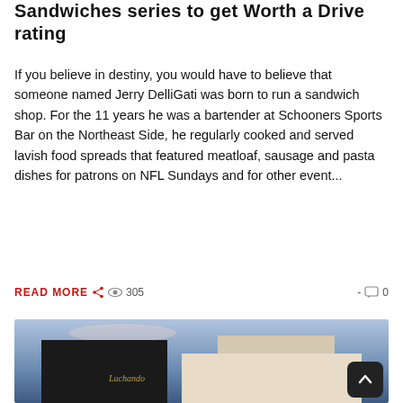Sandwiches series to get Worth a Drive rating
If you believe in destiny, you would have to believe that someone named Jerry DelliGati was born to run a sandwich shop. For the 11 years he was a bartender at Schooners Sports Bar on the Northeast Side, he regularly cooked and served lavish food spreads that featured meatloaf, sausage and pasta dishes for patrons on NFL Sundays and for other event...
READ MORE 305 - 0
[Figure (photo): Exterior photo of a restaurant building with a dark sign panel showing a cursive logo in gold, a light-colored modern building to the right, and blue sky in the background. A back-to-top arrow button is visible in the bottom-right corner.]